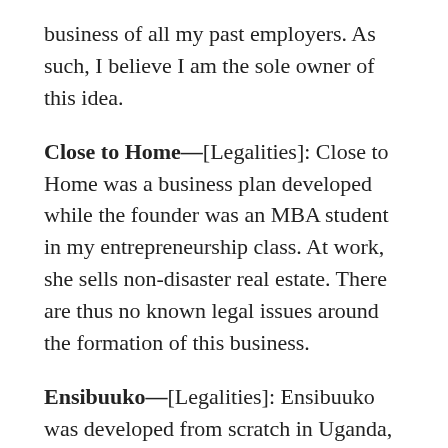business of all my past employers. As such, I believe I am the sole owner of this idea.
Close to Home—[Legalities]: Close to Home was a business plan developed while the founder was an MBA student in my entrepreneurship class. At work, she sells non-disaster real estate. There are thus no known legal issues around the formation of this business.
Ensibuuko—[Legalities]: Ensibuuko was developed from scratch in Uganda, by employees of the company, after it was incorporated. More importantly, there are